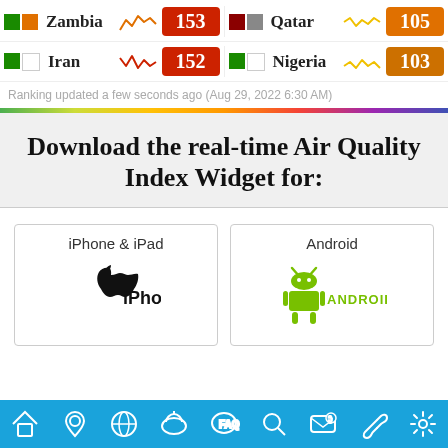| Country | AQI | Country | AQI |
| --- | --- | --- | --- |
| Zambia | 153 | Qatar | 105 |
| Iran | 152 | Nigeria | 103 |
Ranking updated a few seconds ago (Aug 29, 2022 6:30 AM)
Download the real-time Air Quality Index Widget for:
[Figure (logo): iPhone & iPad — Apple iOS logo with iPhone text]
[Figure (logo): Android — Android logo with ANDROID text in green]